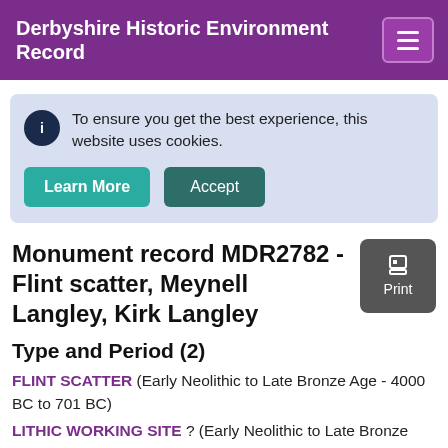Derbyshire Historic Environment Record
To ensure you get the best experience, this website uses cookies.
Learn More
Accept
Monument record MDR2782 - Flint scatter, Meynell Langley, Kirk Langley
Type and Period (2)
FLINT SCATTER (Early Neolithic to Late Bronze Age - 4000 BC to 701 BC)
LITHIC WORKING SITE ? (Early Neolithic to Late Bronze Age - 4000 BC to 701 BC)